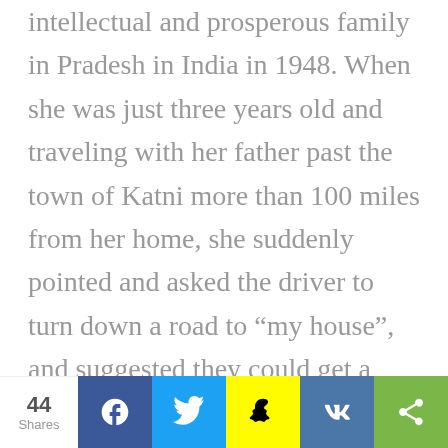intellectual and prosperous family in Pradesh in India in 1948. When she was just three years old and traveling with her father past the town of Katni more than 100 miles from her home, she suddenly pointed and asked the driver to turn down a road to “my house”, and suggested they could get a better cup of tea there than they could on the road.
[Figure (infographic): Social share bar with share count (44 Shares) and buttons for Facebook, Twitter, Snapchat, VK, and a generic share icon.]